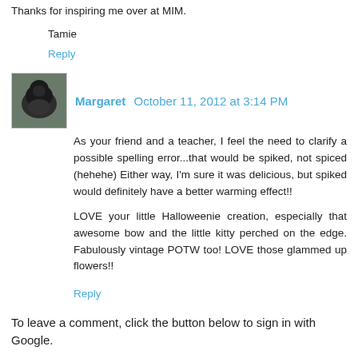Thanks for inspiring me over at MIM.
Tamie
Reply
Margaret  October 11, 2012 at 3:14 PM
As your friend and a teacher, I feel the need to clarify a possible spelling error...that would be spiked, not spiced (hehehe) Either way, I'm sure it was delicious, but spiked would definitely have a better warming effect!!
LOVE your little Halloweenie creation, especially that awesome bow and the little kitty perched on the edge. Fabulously vintage POTW too! LOVE those glammed up flowers!!
Reply
To leave a comment, click the button below to sign in with Google.